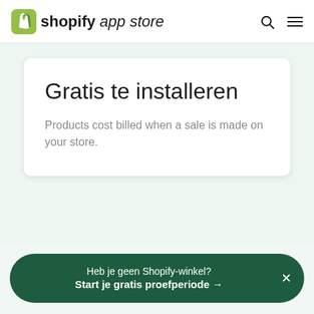shopify app store
Gratis te installeren
Products cost billed when a sale is made on your store.
Heb je geen Shopify-winkel? Start je gratis proefperiode →